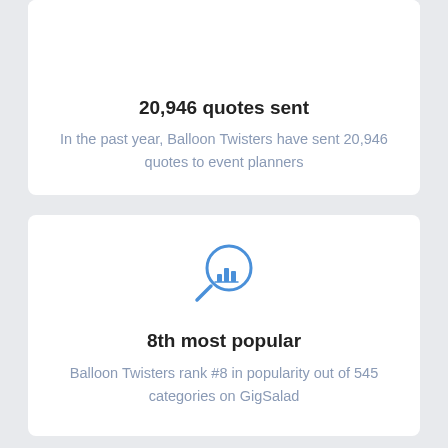[Figure (illustration): Blue bookmark/quote icon at top of first card (partially visible)]
20,946 quotes sent
In the past year, Balloon Twisters have sent 20,946 quotes to event planners
[Figure (illustration): Blue magnifying glass with bar chart icon]
8th most popular
Balloon Twisters rank #8 in popularity out of 545 categories on GigSalad